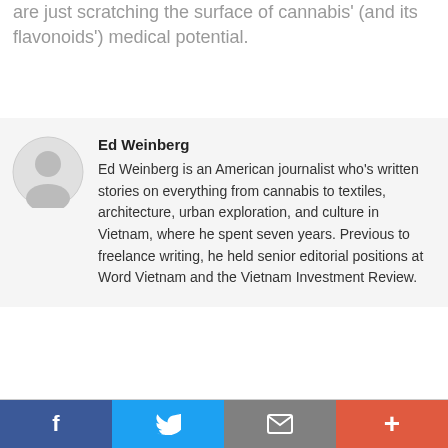are just scratching the surface of cannabis' (and its flavonoids') medical potential.
Ed Weinberg
Ed Weinberg is an American journalist who's written stories on everything from cannabis to textiles, architecture, urban exploration, and culture in Vietnam, where he spent seven years. Previous to freelance writing, he held senior editorial positions at Word Vietnam and the Vietnam Investment Review.
Related
[Figure (other): Social share bar with Facebook, Twitter, email, and plus buttons]